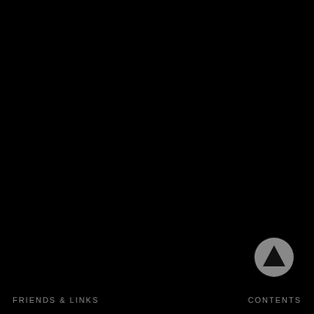[Figure (photo): Full-page dark/black photograph or image filling most of the page]
[Figure (other): Circular grey up-arrow navigation button in lower right]
FRIENDS & LINKS    CONTENTS